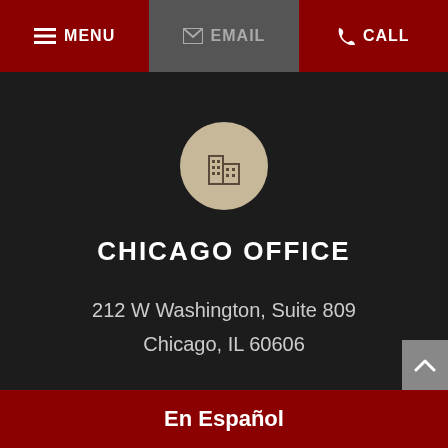MENU  EMAIL  CALL
[Figure (illustration): Building/office icon in a circular beige/tan background]
CHICAGO OFFICE
212 W Washington, Suite 809
Chicago, IL 60606
Chicago Law Office Location
En Español